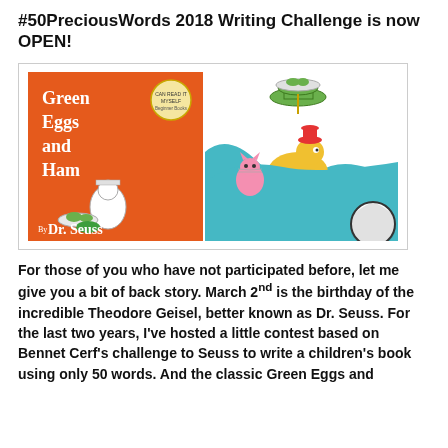#50PreciousWords 2018 Writing Challenge is now OPEN!
[Figure (illustration): Green Eggs and Ham book cover by Dr. Seuss (orange cover with title text and characters) alongside illustrated characters from the book including Sam-I-Am with green eggs on a plate, a pink cat, and other Dr. Seuss characters]
For those of you who have not participated before, let me give you a bit of back story. March 2nd is the birthday of the incredible Theodore Geisel, better known as Dr. Seuss. For the last two years, I've hosted a little contest based on Bennet Cerf's challenge to Seuss to write a children's book using only 50 words. And the classic Green Eggs and